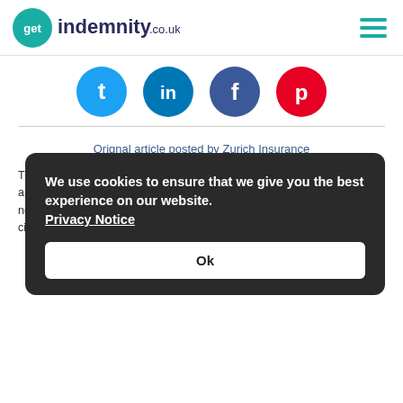getindemnity.co.uk
[Figure (illustration): Social sharing icons row: Twitter (blue), LinkedIn (blue), Facebook (dark blue), Pinterest (red)]
Orignal article posted by Zurich Insurance
This guide is for information purposes and based on sources we believe are reliable and general risk management and insurance information is not intended to be taken as advice with respect to any individual circumstance and cannot be relied upon as such.
We use cookies to ensure that we give you the best experience on our website. Privacy Notice Ok